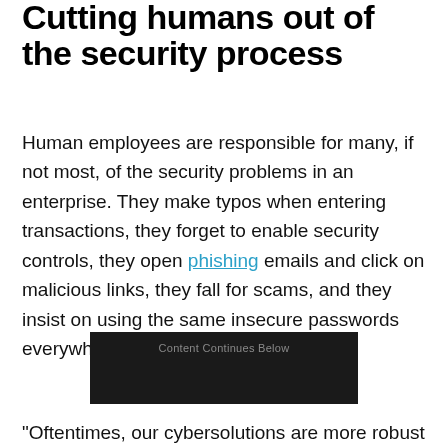Cutting humans out of the security process
Human employees are responsible for many, if not most, of the security problems in an enterprise. They make typos when entering transactions, they forget to enable security controls, they open phishing emails and click on malicious links, they fall for scams, and they insist on using the same insecure passwords everywhere.
[Figure (other): Dark advertisement banner with text 'Content Continues Below']
"Oftentimes, our cybersolutions are more robust